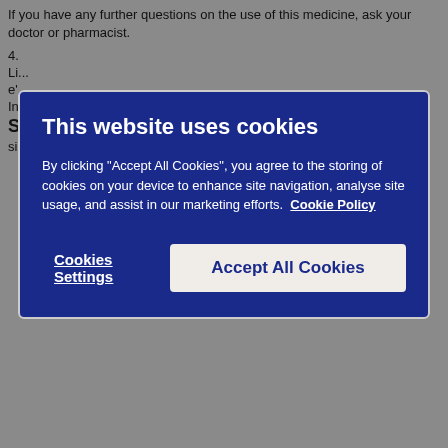If you have any further questions on the use of this medicine, ask your doctor or pharmacist.
4.
Li...
In...
S...
[Figure (screenshot): Cookie consent modal with dark blue background. Title: 'This website uses cookies'. Body text: 'By clicking "Accept All Cookies", you agree to the storing of cookies on your device to enhance site navigation, analyse site usage, and assist in our marketing efforts. Cookie Policy'. Two buttons: 'Cookies Settings' (text link) and 'Accept All Cookies' (white button).]
face, fever, sudden wheezing, fluttering or tightness of the chest or collapse.
Effects on the heart
If you notice any of the following effects, see a doctor straight away.
The signs may include:
breathlessness, swelling of the ankles, cough, tiredness and a racing heart
chest pain which may spread to your neck and shoulders and down your left arm